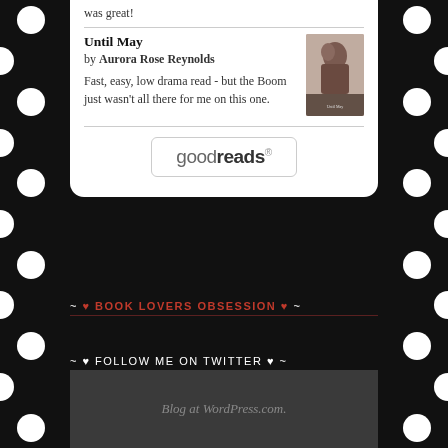was great!
Until May
by Aurora Rose Reynolds
Fast, easy, low drama read - but the Boom just wasn't all there for me on this one.
[Figure (logo): Goodreads button/logo in a rounded rectangle border]
~ ♥ BOOK LOVERS OBSESSION ♥ ~
~ ♥ FOLLOW ME ON TWITTER ♥ ~
My Tweets
Blog at WordPress.com.